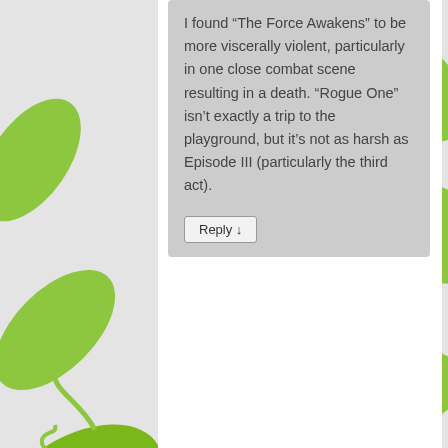[Figure (illustration): Green leaf and vine decorative background illustration on left and right sides of the page]
I found “The Force Awakens” to be more viscerally violent, particularly in one close combat scene resulting in a death. “Rogue One” isn’t exactly a trip to the playground, but it’s not as harsh as Episode III (particularly the third act).
Reply ↓
CANCEL REPLY
Leave a Reply to Valerie
Your email address will not be published. Required fields are marked *